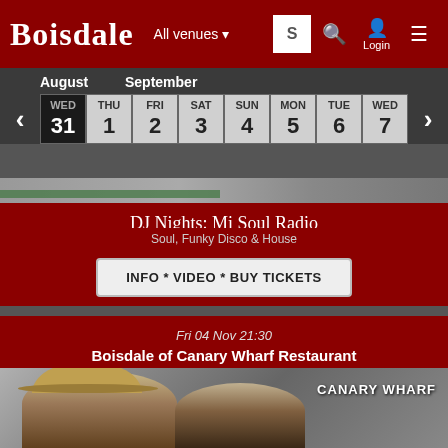BOISDALE | All venues | Login
| WED | THU | FRI | SAT | SUN | MON | TUE | WED | THU |
| --- | --- | --- | --- | --- | --- | --- | --- | --- |
| 31 | 1 | 2 | 3 | 4 | 5 | 6 | 7 | 8 |
[Figure (photo): Partial image of performers with a green bar overlay at top]
DJ Nights: Mi Soul Radio
Soul, Funky Disco & House
INFO * VIDEO * BUY TICKETS
Fri 04 Nov 21:30
Boisdale of Canary Wharf Restaurant
[Figure (photo): Two men, one wearing a hat, with CANARY WHARF text overlay on a grey background]